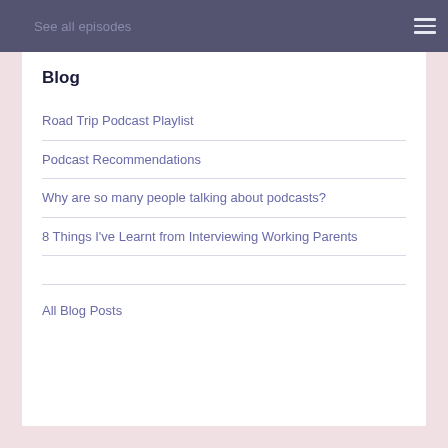See all episodes
Blog
Road Trip Podcast Playlist
Podcast Recommendations
Why are so many people talking about podcasts?
8 Things I've Learnt from Interviewing Working Parents
All Blog Posts